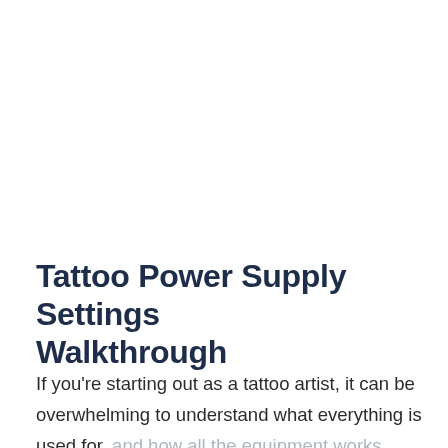Tattoo Power Supply Settings Walkthrough
If you're starting out as a tattoo artist, it can be overwhelming to understand what everything is used for, and how all the equipment works. Below is a guide to all settings that you'll find on your tattoo power supply.